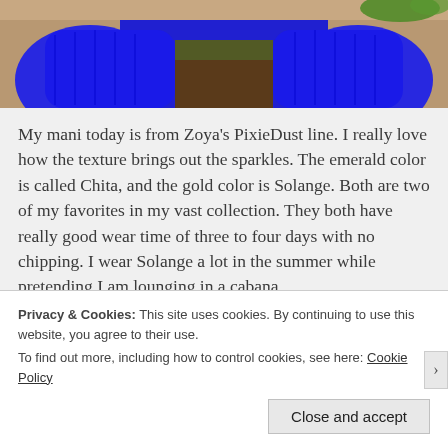[Figure (photo): Close-up photo of hands/feet wearing bright royal blue knitted fabric or socks, with green foliage visible in the background. Only the bottom portion of the image is visible, cropped at the top.]
My mani today is from Zoya's PixieDust line. I really love how the texture brings out the sparkles. The emerald color is called Chita, and the gold color is Solange. Both are two of my favorites in my vast collection. They both have really good wear time of three to four days with no chipping. I wear Solange a lot in the summer while pretending I am lounging in a cabana.
Privacy & Cookies: This site uses cookies. By continuing to use this website, you agree to their use.
To find out more, including how to control cookies, see here: Cookie Policy